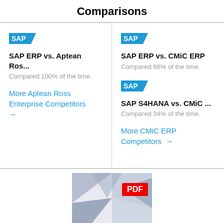Comparisons
SAP ERP vs. Aptean Ros...
Compared 100% of the time.
More Aptean Ross Enterprise Competitors →
SAP ERP vs. CMiC ERP
Compared 66% of the time.
SAP S4HANA vs. CMiC ...
Compared 34% of the time.
More CMiC ERP Competitors →
[Figure (illustration): PDF thumbnail with geometric triangle shapes in blue/grey tones and a red PDF badge in the upper right.]